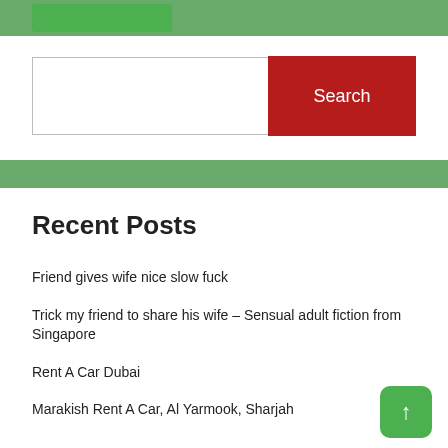Recent Posts
Friend gives wife nice slow fuck
Trick my friend to share his wife – Sensual adult fiction from Singapore
Rent A Car Dubai
Marakish Rent A Car, Al Yarmook, Sharjah